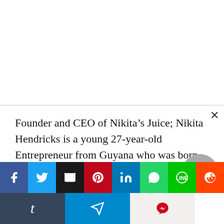Founder and CEO of Nikita’s Juice; Nikita Hendricks is a young 27-year-old Entrepreneur from Guyana who was born on January 22nd. Nikita Hendricks graduated from Baylor University in Waco, Texas in 2015 earning a bachelor’s degree in Management Information Systems and a bachelor’s in Entrepreneurship. After many years of becoming an expert at making beverages, Nikita Hendricks has now launched her beverage brand
[Figure (other): Social media sharing buttons bar: Facebook (blue), Twitter (blue), Email (black), Pinterest (red), LinkedIn (blue), WhatsApp (green), Line (green), Reddit (orange), Tumblr (dark), Telegram (blue), Pocket (light gray)]